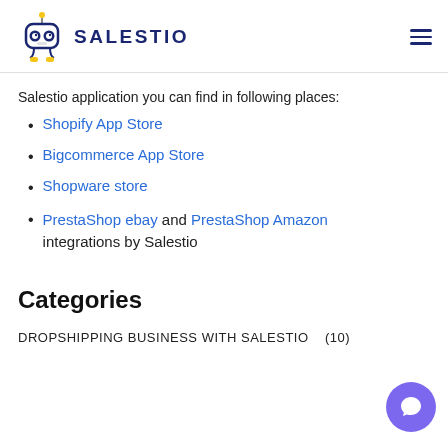SALESTIO
Salestio application you can find in following places:
Shopify App Store
Bigcommerce App Store
Shopware store
PrestaShop ebay and PrestaShop Amazon integrations by Salestio
Categories
DROPSHIPPING BUSINESS WITH SALESTIO   (10)